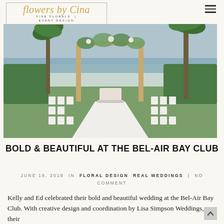flowers by Cina — FINE FLORALS | EVENT DESIGN
[Figure (photo): Outdoor wedding ceremony setup at the Bel-Air Bay Club with a floral arch, white runner aisle, white chairs on both sides, palm trees and ocean in the background]
BOLD & BEAUTIFUL AT THE BEL-AIR BAY CLUB
JUNE 19, 2018 IN FLORAL DESIGN REAL WEDDINGS | NO COMMENT
Kelly and Ed celebrated their bold and beautiful wedding at the Bel-Air Bay Club. With creative design and coordination by Lisa Simpson Weddings, their